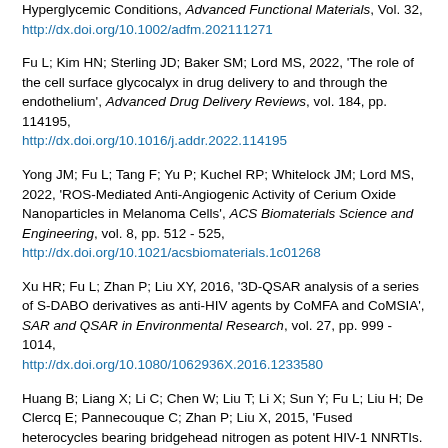Hyperglycemic Conditions, Advanced Functional Materials, Vol. 32, http://dx.doi.org/10.1002/adfm.202111271
Fu L; Kim HN; Sterling JD; Baker SM; Lord MS, 2022, 'The role of the cell surface glycocalyx in drug delivery to and through the endothelium', Advanced Drug Delivery Reviews, vol. 184, pp. 114195, http://dx.doi.org/10.1016/j.addr.2022.114195
Yong JM; Fu L; Tang F; Yu P; Kuchel RP; Whitelock JM; Lord MS, 2022, 'ROS-Mediated Anti-Angiogenic Activity of Cerium Oxide Nanoparticles in Melanoma Cells', ACS Biomaterials Science and Engineering, vol. 8, pp. 512 - 525, http://dx.doi.org/10.1021/acsbiomaterials.1c01268
Xu HR; Fu L; Zhan P; Liu XY, 2016, '3D-QSAR analysis of a series of S-DABO derivatives as anti-HIV agents by CoMFA and CoMSIA', SAR and QSAR in Environmental Research, vol. 27, pp. 999 - 1014, http://dx.doi.org/10.1080/1062936X.2016.1233580
Huang B; Liang X; Li C; Chen W; Liu T; Li X; Sun Y; Fu L; Liu H; De Clercq E; Pannecouque C; Zhan P; Liu X, 2015, 'Fused heterocycles bearing bridgehead nitrogen as potent HIV-1 NNRTIs. Part 4: Design, synthesis and biological evaluation of novel imidazo[1,2-a]pyrazines', European Journal of Medicinal Chemistry, vol. 93, pp. 330 - 337, http://dx.doi.org/10.1016/j.ejmech.2015.02.022
Huang B; Li C; Chen W; Liu T; Yu M; Fu L; Sun Y; Liu H; De Clercq E; Pannecouque C; Balzarini J; Zhan P; Liu X, 2015, 'Fused heterocycles bearing bridgehead nitrogen as potent HIV-1 NNRTIs. Part 3: